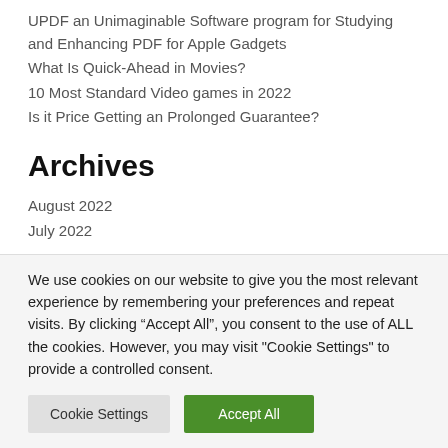UPDF an Unimaginable Software program for Studying and Enhancing PDF for Apple Gadgets
What Is Quick-Ahead in Movies?
10 Most Standard Video games in 2022
Is it Price Getting an Prolonged Guarantee?
Archives
August 2022
July 2022
We use cookies on our website to give you the most relevant experience by remembering your preferences and repeat visits. By clicking “Accept All”, you consent to the use of ALL the cookies. However, you may visit "Cookie Settings" to provide a controlled consent.